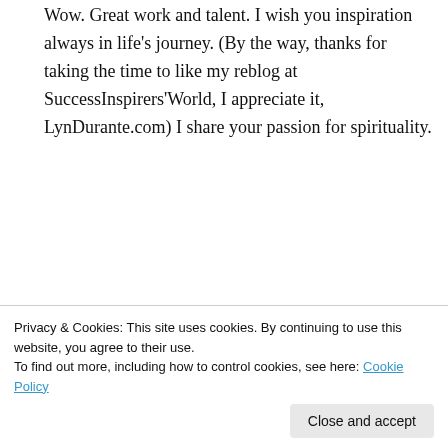Wow. Great work and talent. I wish you inspiration always in life's journey. (By the way, thanks for taking the time to like my reblog at SuccessInspirers'World, I appreciate it, LynDurante.com) I share your passion for spirituality.
★ Liked by 5 people
Log in to Reply
Privacy & Cookies: This site uses cookies. By continuing to use this website, you agree to their use.
To find out more, including how to control cookies, see here: Cookie Policy
Close and accept
that we could solve our problems of the